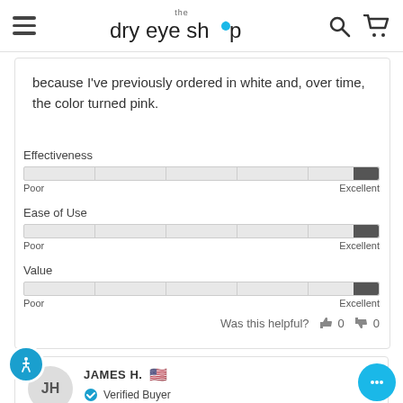the dry eye shop
because I've previously ordered in white and, over time, the color turned pink.
[Figure (infographic): Three rating slider bars for Effectiveness, Ease of Use, and Value — each showing a scale from Poor to Excellent with the indicator near the Excellent end.]
Was this helpful? 👍 0 👎 0
JAMES H. 🇺🇸 Verified Buyer